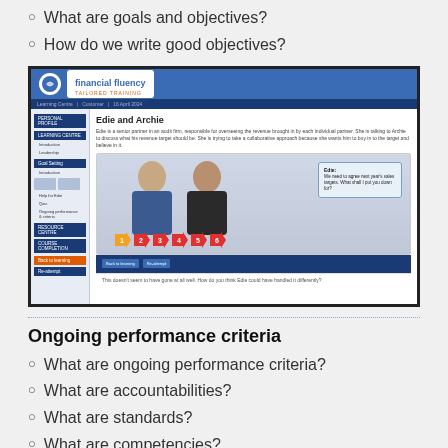What are goals and objectives?
How do we write good objectives?
[Figure (screenshot): Screenshot of a Financial Fluency tailored training e-learning platform showing a scenario called 'Edie and Archie' with a numbered navigation sequence and dialogue between two characters.]
Ongoing performance criteria
What are ongoing performance criteria?
What are accountabilities?
What are standards?
What are competencies?